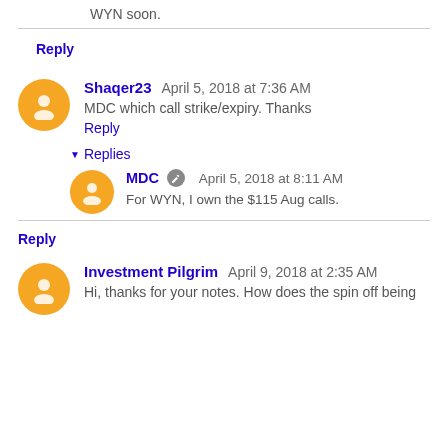WYN soon.
Reply
Shaqer23 April 5, 2018 at 7:36 AM
MDC which call strike/expiry. Thanks
Reply
Replies
MDC April 5, 2018 at 8:11 AM
For WYN, I own the $115 Aug calls.
Reply
Investment Pilgrim April 9, 2018 at 2:35 AM
Hi, thanks for your notes. How does the spin off being